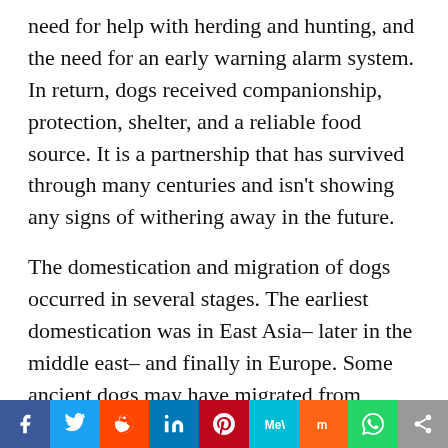need for help with herding and hunting, and the need for an early warning alarm system. In return, dogs received companionship, protection, shelter, and a reliable food source. It is a partnership that has survived through many centuries and isn't showing any signs of withering away in the future.
The domestication and migration of dogs occurred in several stages. The earliest domestication was in East Asia– later in the middle east– and finally in Europe. Some ancient dogs may have migrated from central Asia. The reasons for the migrations were much the same for dogs as well as for humans:
[Figure (other): Social sharing bar with buttons for Facebook, Twitter, Reddit, LinkedIn, Pinterest, MeWe, Mix, WhatsApp, and Share]